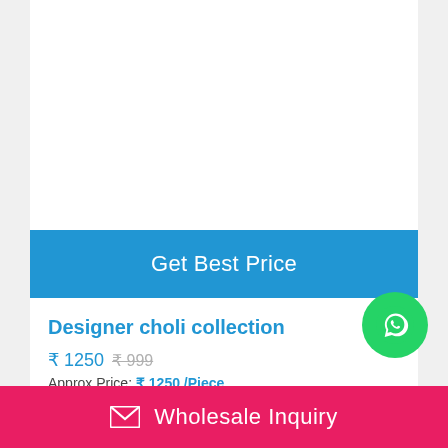Get Best Price
Designer choli collection
₹ 1250  ₹ 999
Approx Price: ₹ 1250 /Piece
Minimum Order Quantity: 1 Piece
I Want to Buy
Product Specification :
|  |  |
| --- | --- |
| Occasion: | Festive wear |
Wholesale Inquiry